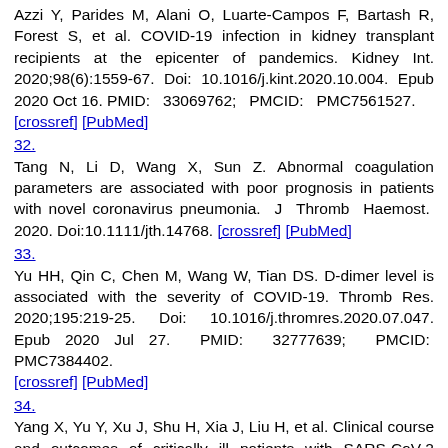Azzi Y, Parides M, Alani O, Luarte-Campos F, Bartash R, Forest S, et al. COVID-19 infection in kidney transplant recipients at the epicenter of pandemics. Kidney Int. 2020;98(6):1559-67. Doi: 10.1016/j.kint.2020.10.004. Epub 2020 Oct 16. PMID: 33069762; PMCID: PMC7561527. [crossref] [PubMed]
32. Tang N, Li D, Wang X, Sun Z. Abnormal coagulation parameters are associated with poor prognosis in patients with novel coronavirus pneumonia. J Thromb Haemost. 2020. Doi:10.1111/jth.14768. [crossref] [PubMed]
33. Yu HH, Qin C, Chen M, Wang W, Tian DS. D-dimer level is associated with the severity of COVID-19. Thromb Res. 2020;195:219-25. Doi: 10.1016/j.thromres.2020.07.047. Epub 2020 Jul 27. PMID: 32777639; PMCID: PMC7384402. [crossref] [PubMed]
34. Yang X, Yu Y, Xu J, Shu H, Xia J, Liu H, et al. Clinical course and outcomes of critically ill patients with SARS-CoV-2 pneumonia in Wuhan, China: a single-centered, retrospective, observational study. Lancet Respir Med.